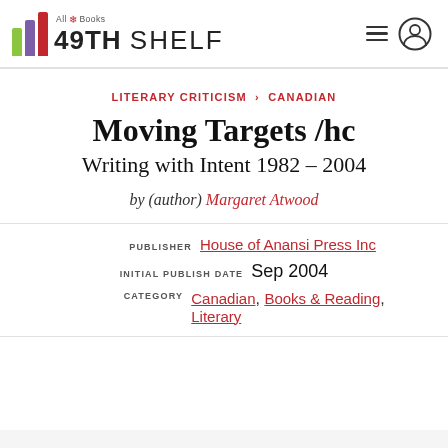[Figure (logo): 49th Shelf - All Books logo with colored vertical bars and wordmark]
LITERARY CRITICISM › CANADIAN
Moving Targets /hc
Writing with Intent 1982 – 2004
by (author) Margaret Atwood
| Label | Value |
| --- | --- |
| PUBLISHER | House of Anansi Press Inc |
| INITIAL PUBLISH DATE | Sep 2004 |
| CATEGORY | Canadian, Books & Reading, Literary |